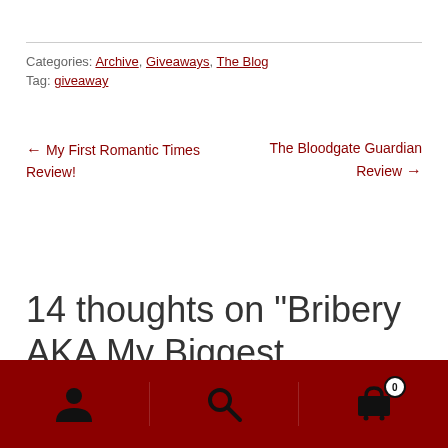Categories: Archive, Giveaways, The Blog
Tag: giveaway
← My First Romantic Times Review!
The Bloodgate Guardian Review →
14 thoughts on "Bribery AKA My Biggest Giveaway Yet"
Navigation icons: user, search, cart (0)